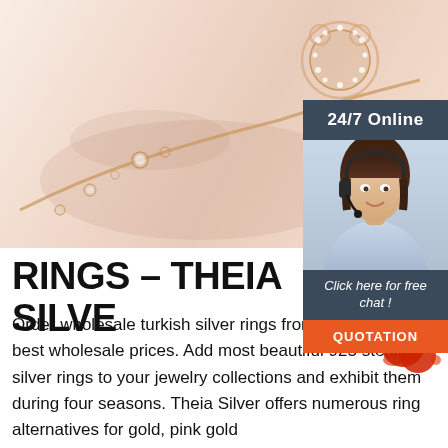[Figure (photo): Close-up photo of a rose gold jewelry bracelet/chain with crystal-encrusted bear head pendant against a peach/beige background]
[Figure (infographic): 24/7 Online chat widget showing a female customer service agent with headset, header '24/7 Online', link text 'Click here for free chat!', and orange QUOTATION button]
RINGS – THEIA SILVE…
Order wholesale turkish silver rings from Theia Silver at best wholesale prices. Add most beautiful 925 sterling silver rings to your jewelry collections and exhibit them during four seasons. Theia Silver offers numerous ring alternatives for gold, pink gold